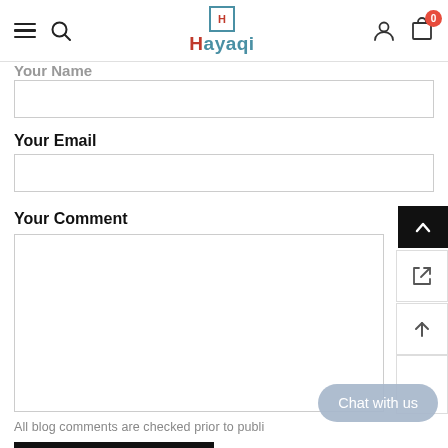[Figure (screenshot): Hayaqi e-commerce website header with hamburger menu, search icon, Hayaqi logo, user icon, and cart icon showing 0 items]
Your Name
[Figure (other): Empty text input field for Your Name]
Your Email
[Figure (other): Empty text input field for Your Email]
Your Comment
[Figure (other): Empty textarea for Your Comment]
All blog comments are checked prior to publi…
[Figure (other): Chat with us button overlay (light blue/grey rounded pill)]